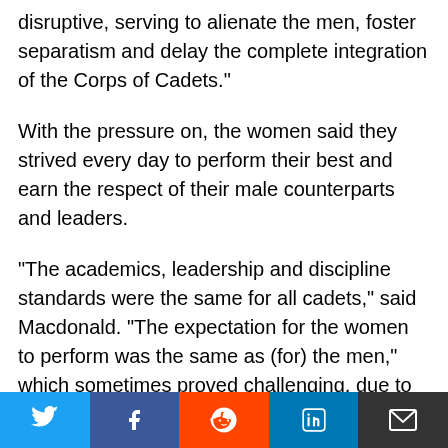disruptive, serving to alienate the men, foster separatism and delay the complete integration of the Corps of Cadets."
With the pressure on, the women said they strived every day to perform their best and earn the respect of their male counterparts and leaders.
"The academics, leadership and discipline standards were the same for all cadets," said Macdonald. "The expectation for the women to perform was the same as (for) the men," which sometimes proved challenging, due to physiological differences between the genders. As the first women to attend
[Figure (other): Social sharing bar with Twitter, Facebook, Reddit, LinkedIn, and Email buttons]